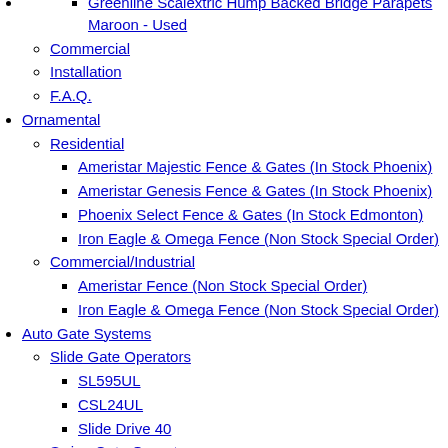Greenline Scalextric Hump Backed Bridge Parapets Maroon - Used
Commercial
Installation
F.A.Q.
Ornamental
Residential
Ameristar Majestic Fence & Gates (In Stock Phoenix)
Ameristar Genesis Fence & Gates (In Stock Phoenix)
Phoenix Select Fence & Gates (In Stock Edmonton)
Iron Eagle & Omega Fence (Non Stock Special Order)
Commercial/Industrial
Ameristar Fence (Non Stock Special Order)
Iron Eagle & Omega Fence (Non Stock Special Order)
Auto Gate Systems
Slide Gate Operators
SL595UL
CSL24UL
Slide Drive 40
Swing Gate Operators
CSW24UL